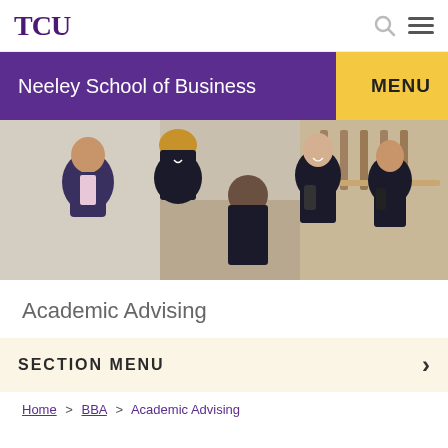TCU
Neeley School of Business
MENU
[Figure (photo): Group of people including an advisor/professor in a suit and students in black polo shirts laughing and conversing in a modern building interior.]
Academic Advising
SECTION MENU
Home > BBA > Academic Advising